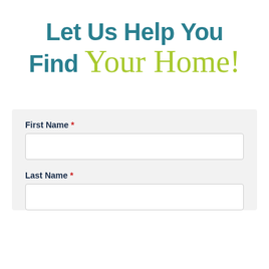Let Us Help You Find Your Home!
First Name *
Last Name *